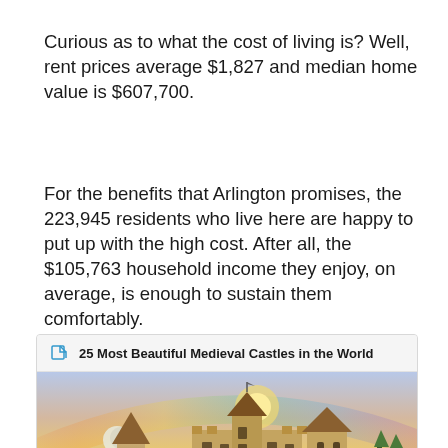Curious as to what the cost of living is? Well, rent prices average $1,827 and median home value is $607,700.
For the benefits that Arlington promises, the 223,945 residents who live here are happy to put up with the high cost. After all, the $105,763 household income they enjoy, on average, is enough to sustain them comfortably.
[Figure (other): Related article card with link icon and title '25 Most Beautiful Medieval Castles in the World', with a photo of a castle with conical towers against a sky with a rainbow and full moon]